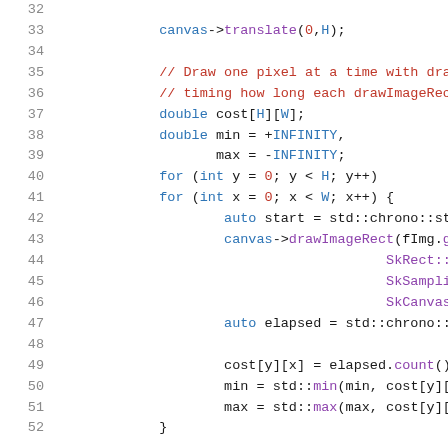[Figure (screenshot): Source code snippet in C++ showing lines 32-52 of a rendering benchmark. The code draws pixels using canvas->drawImageRect, measures timing with std::chrono::steady_clock, and tracks min/max cost per pixel.]